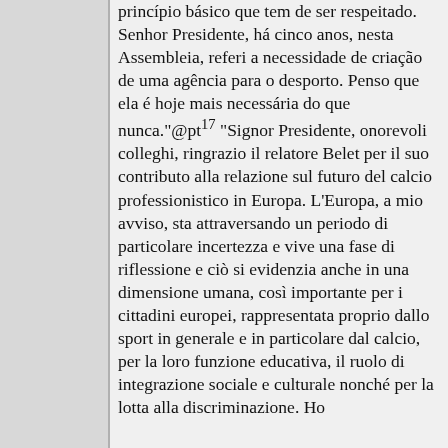princípio básico que tem de ser respeitado. Senhor Presidente, há cinco anos, nesta Assembleia, referi a necessidade de criação de uma agência para o desporto. Penso que ela é hoje mais necessária do que nunca."@pt17 "Signor Presidente, onorevoli colleghi, ringrazio il relatore Belet per il suo contributo alla relazione sul futuro del calcio professionistico in Europa. L'Europa, a mio avviso, sta attraversando un periodo di particolare incertezza e vive una fase di riflessione e ciò si evidenzia anche in una dimensione umana, così importante per i cittadini europei, rappresentata proprio dallo sport in generale e in particolare dal calcio, per la loro funzione educativa, il ruolo di integrazione sociale e culturale nonché per la lotta alla discriminazione. Ho